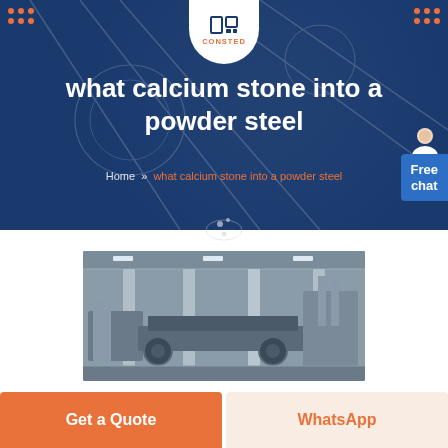CONSTED
what calcium stone into a powder steel
Home » what calcium stone into a powder steel
[Figure (photo): Factory interior showing industrial machinery and large structural steel equipment in a warehouse setting]
Get a Quote
WhatsApp